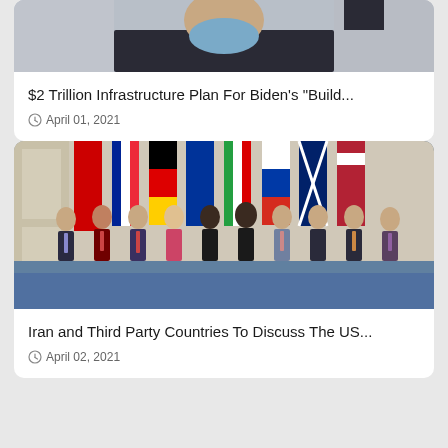[Figure (photo): Partial photo of a person wearing a blue surgical mask, cropped at top]
$2 Trillion Infrastructure Plan For Biden’s “Build…
April 01, 2021
[Figure (photo): Group photo of diplomats standing in front of national flags including China, France, Germany, EU, Iran, Russia, UK, US]
Iran and Third Party Countries To Discuss The US…
April 02, 2021